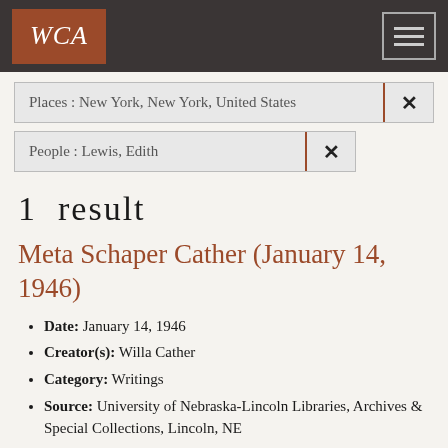WCA
Places : New York, New York, United States  ×
People : Lewis, Edith  ×
1 result
Meta Schaper Cather (January 14, 1946)
Date: January 14, 1946
Creator(s): Willa Cather
Category: Writings
Source: University of Nebraska-Lincoln Libraries, Archives & Special Collections, Lincoln, NE